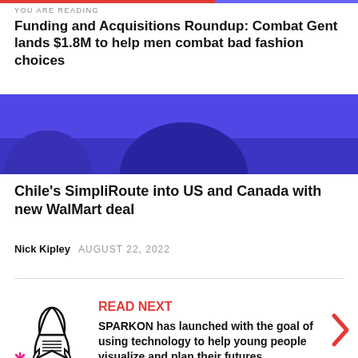YOU ARE READING
Funding and Acquisitions Roundup: Combat Gent lands $1.8M to help men combat bad fashion choices
[Figure (illustration): Blue and dark purple banner image with abstract curved shapes on dark background]
Chile's SimpliRoute into US and Canada with new WalMart deal
Nick Kipley   AUGUST 22, 2022
[Figure (illustration): Rocket ship illustration with decorative asterisk/snowflake shapes in pink, orange, and green below it]
READ NEXT
SPARKON has launched with the goal of using technology to help young people visualize and plan their futures